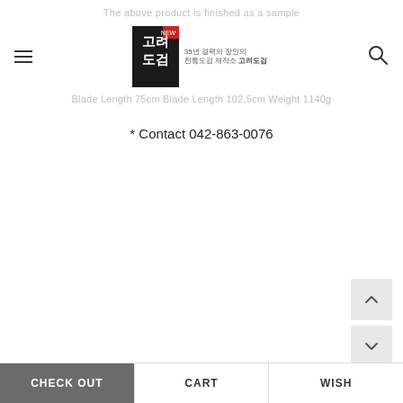The above product is finished as a sample
[Figure (logo): Koryo Sword (고려도검) logo — black book-style graphic with Korean text and red accent label, plus tagline text '35년 경력의 장인의 전통도검 제작소 고려도검']
Blade Length 75cm Blade Length 102.5cm Weight 1140g
* Contact 042-863-0076
[Figure (other): Scroll up arrow button (chevron up) in light grey square]
[Figure (other): Scroll down arrow button (chevron down) in light grey square]
CHECK OUT
CART
WISH